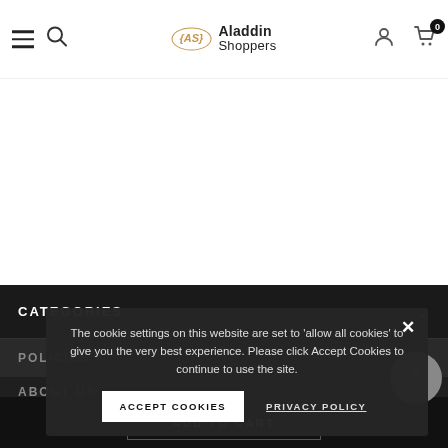Aladdin Shoppers – navigation header with hamburger menu, search, logo, user icon, and cart (0 items)
CATEGORIES
POLICIES
ABOUT US
1/5505, Street No…ension, Delhi- 110032, India
The cookie settings on this website are set to 'allow all cookies' to give you the very best experience. Please click Accept Cookies to continue to use the site.
ACCEPT COOKIES
PRIVACY POLICY
ADD TO CART